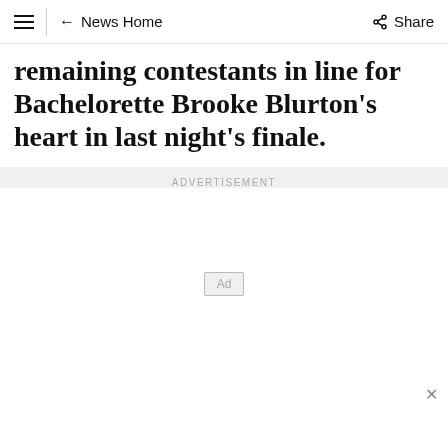≡ ← News Home Share
remaining contestants in line for Bachelorette Brooke Blurton's heart in last night's finale.
ADVERTISEMENT
Ad
Ad